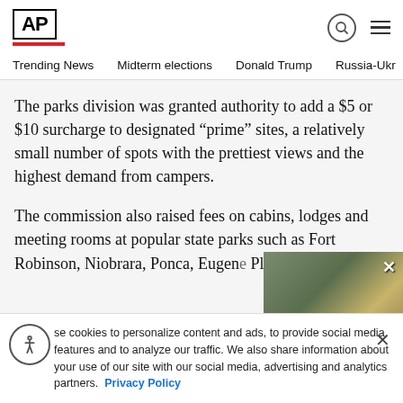AP
Trending News  Midterm elections  Donald Trump  Russia-Ukr
The parks division was granted authority to add a $5 or $10 surcharge to designated “prime” sites, a relatively small number of spots with the prettiest views and the highest demand from campers.
The commission also raised fees on cabins, lodges and meeting rooms at popular state parks such as Fort Robinson, Niobrara, Ponca, Eugene... Pl... River.
[Figure (photo): Photo of person wearing mask near yellow vehicle, partially obscured by video overlay]
se cookies to personalize content and ads, to provide social media features and to analyze our traffic. We also share information about your use of our site with our social media, advertising and analytics partners. Privacy Policy